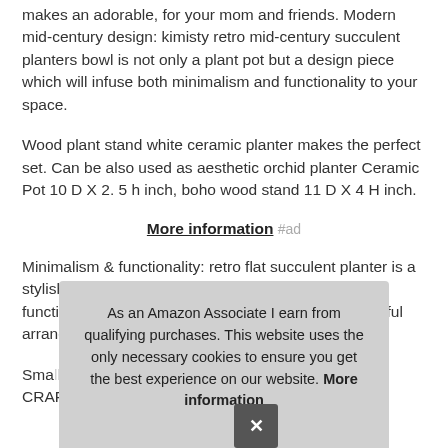makes an adorable, for your mom and friends. Modern mid-century design: kimisty retro mid-century succulent planters bowl is not only a plant pot but a design piece which will infuse both minimalism and functionality to your space.
Wood plant stand white ceramic planter makes the perfect set. Can be also used as aesthetic orchid planter Ceramic Pot 10 D X 2. 5 h inch, boho wood stand 11 D X 4 H inch.
More information #ad
Minimalism & functionality: retro flat succulent planter is a stylish, elegant piece, thanks to its large container, functional, it gives you plenty of space for your beautiful arrangements. Plan... you...
Sma... use A class, high quality materials and CRAFTMANSHIP.
As an Amazon Associate I earn from qualifying purchases. This website uses the only necessary cookies to ensure you get the best experience on our website. More information